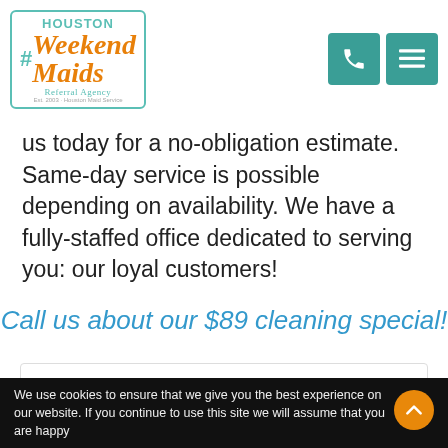[Figure (logo): Weekend Maids logo with teal border and orange italic text]
us today for a no-obligation estimate. Same-day service is possible depending on availability. We have a fully-staffed office dedicated to serving you: our loyal customers!
Call us about our $89 cleaning special!
Popular Posts
COVID-19 UPDATE
We have reduced our prices to the lowest levels ever to help keep your home and touchpoints clean and disinfected during this time. New offers for one-time and recurring-service plans available that
We use cookies to ensure that we give you the best experience on our website. If you continue to use this site we will assume that you are happy